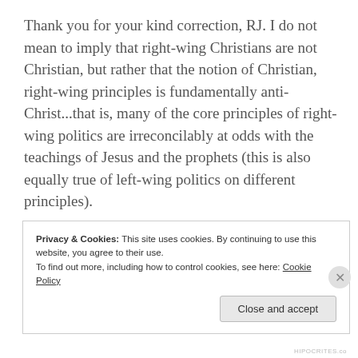Thank you for your kind correction, RJ. I do not mean to imply that right-wing Christians are not Christian, but rather that the notion of Christian, right-wing principles is fundamentally anti-Christ...that is, many of the core principles of right-wing politics are irreconcilably at odds with the teachings of Jesus and the prophets (this is also equally true of left-wing politics on different principles).
So, to split a hair, I would say that there are right-wing Christians and left-wing Christians–both Christian and both deeply misguided on some issues–but there is no
Privacy & Cookies: This site uses cookies. By continuing to use this website, you agree to their use.
To find out more, including how to control cookies, see here: Cookie Policy
Close and accept